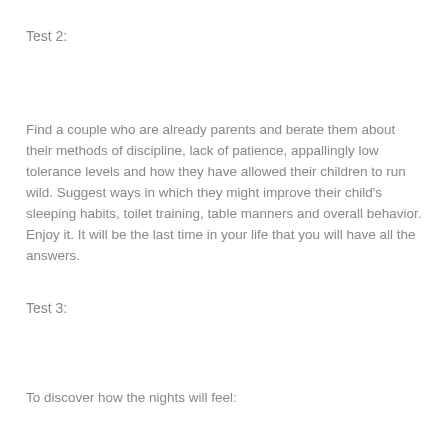Test 2:
Find a couple who are already parents and berate them about their methods of discipline, lack of patience, appallingly low tolerance levels and how they have allowed their children to run wild. Suggest ways in which they might improve their child's sleeping habits, toilet training, table manners and overall behavior. Enjoy it. It will be the last time in your life that you will have all the answers.
Test 3:
To discover how the nights will feel: